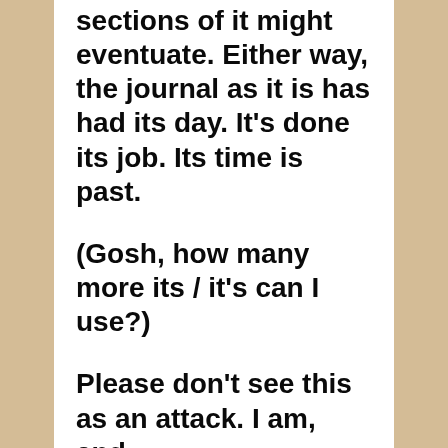sections of it might eventuate. Either way, the journal as it is has had its day. It's done its job. Its time is past.
(Gosh, how many more its / it's can I use?)
Please don't see this as an attack. I am, and